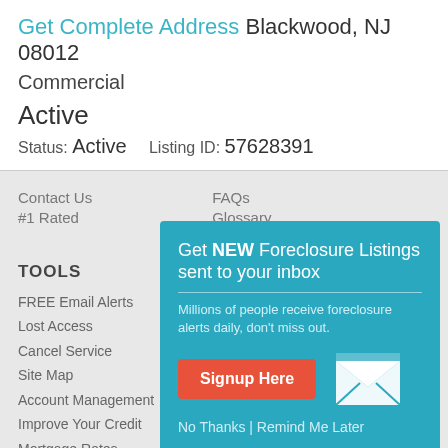Get Complete Address Blackwood, NJ 08012
Commercial
Active
Status: Active    Listing ID: 57628391
Contact Us
#1 Rated
FAQs
Glossary
TOOLS
FREE Email Alerts
Lost Access
Cancel Service
Site Map
Account Management
Improve Your Credit
Mortgage Rates
[Figure (infographic): Modal popup with teal background promoting foreclosure listing email alerts. Contains headline 'Get NEW Foreclosure Listings sent to your inbox', subtext 'Millions of people receive foreclosure alerts daily, don't miss out.', a red 'Signup Here' button, an envelope icon, and links 'No Thanks | Remind Me Later'.]